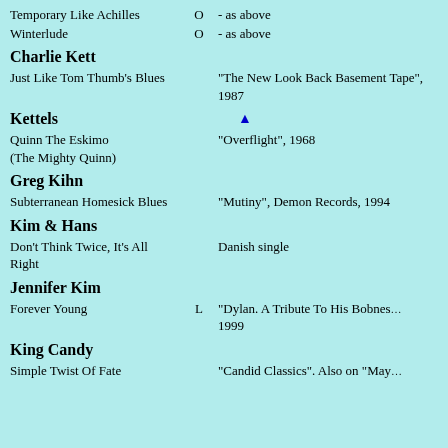Temporary Like Achilles   O   - as above
Winterlude   O   - as above
Charlie Kett
Just Like Tom Thumb's Blues   "The New Look Back Basement Tape", 1987
Kettels
Quinn The Eskimo (The Mighty Quinn)   "Overflight", 1968
Greg Kihn
Subterranean Homesick Blues   "Mutiny", Demon Records, 1994
Kim & Hans
Don't Think Twice, It's All Right   Danish single
Jennifer Kim
Forever Young   L   "Dylan. A Tribute To His Bobness", 1999
King Candy
Simple Twist Of Fate   "Candid Classics". Also on "May...